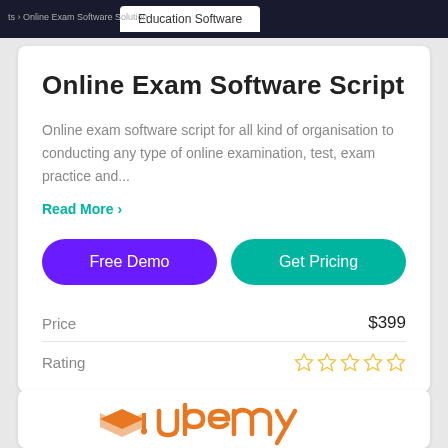ts › Online Exam Software Solution | Education Software
Online Exam Software Script
Online exam software script for all kind of organisation to conducting any type of online examination, test, exam practice and...
Read More ›
Free Demo
Get Pricing
|  |  |
| --- | --- |
| Price | $399 |
| Rating | ☆☆☆☆☆ |
[Figure (logo): Partial orange logo at bottom of page]